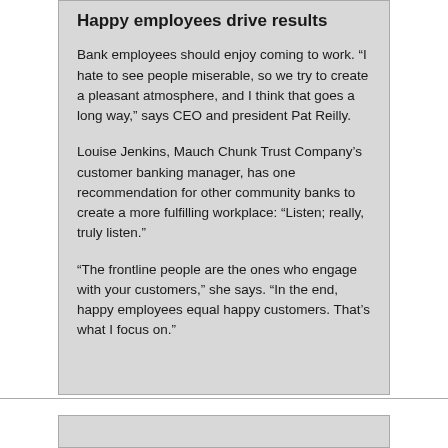Happy employees drive results
Bank employees should enjoy coming to work. “I hate to see people miserable, so we try to create a pleasant atmosphere, and I think that goes a long way,” says CEO and president Pat Reilly.
Louise Jenkins, Mauch Chunk Trust Company’s customer banking manager, has one recommendation for other community banks to create a more fulfilling workplace: “Listen; really, truly listen.”
“The frontline people are the ones who engage with your customers,” she says. “In the end, happy employees equal happy customers. That’s what I focus on.”